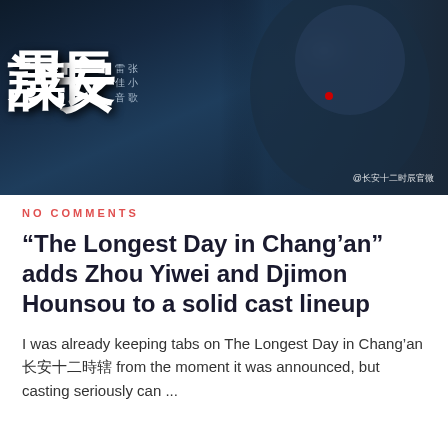[Figure (photo): Movie promotional poster for 'The Longest Day in Chang'an' (长安十二时辰) showing a male actor in ancient Chinese warrior armor in a dark blue dramatic scene. Large Chinese characters 长安十二时辰 visible on left side. Small credit text for actors 雷佳音 and 张小歌. Weibo watermark '@长安十二时辰官微' in bottom right corner.]
NO COMMENTS
“The Longest Day in Chang’an” adds Zhou Yiwei and Djimon Hounsou to a solid cast lineup
I was already keeping tabs on The Longest Day in Chang’an 長安十二時辰 from the moment it was announced, but casting seriously can ...